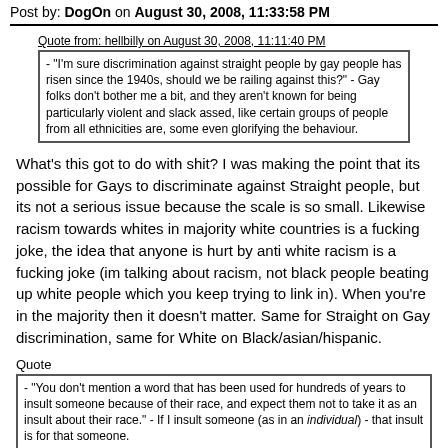Post by: DogOn on August 30, 2008, 11:33:58 PM
Quote from: hellbilly on August 30, 2008, 11:11:40 PM
- "I'm sure discrimination against straight people by gay people has risen since the 1940s, should we be railing against this?" - Gay folks don't bother me a bit, and they aren't known for being particularly violent and slack assed, like certain groups of people from all ethnicities are, some even glorifying the behaviour.
What's this got to do with shit? I was making the point that its possible for Gays to discriminate against Straight people, but its not a serious issue because the scale is so small. Likewise racism towards whites in majority white countries is a fucking joke, the idea that anyone is hurt by anti white racism is a fucking joke (im talking about racism, not black people beating up white people which you keep trying to link in). When you're in the majority then it doesn't matter. Same for Straight on Gay discrimination, same for White on Black/asian/hispanic.
Quote
- "You don't mention a word that has been used for hundreds of years to insult someone because of their race, and expect them not to take it as an insult about their race." - If I insult someone (as in an individual) - that insult is for that someone.
If you call a black person a filthy nigger, then it would be fair to assume you think they're race is part of the reason you hate them. If a white person pisses you off, you don't call them a fucking cracker, you call them a asshole, or prick. don't act like calling a black person a nigger has nothing to do with racism, its fucking embarrassingly is not the case. Much like you wouldn't call a gay person a dirty faggot and expect them not